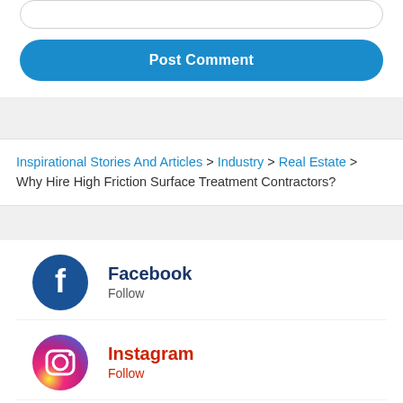[Figure (screenshot): Post Comment button - blue rounded rectangle with white bold text]
Inspirational Stories And Articles > Industry > Real Estate > Why Hire High Friction Surface Treatment Contractors?
[Figure (logo): Facebook logo - blue circle with white f]
Facebook Follow
[Figure (logo): Instagram logo - gradient circle with camera icon]
Instagram Follow
[Figure (logo): Twitter logo - blue circle with bird icon (partially visible)]
Twitter